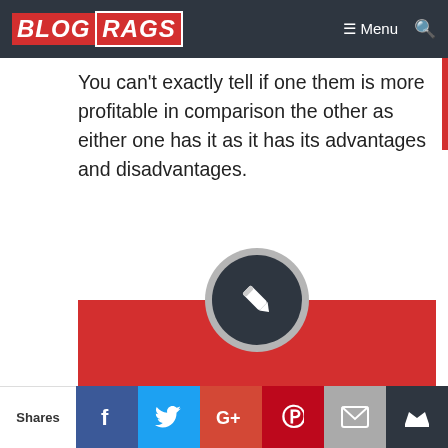BLOG RAGS — Menu
You can't exactly tell if one them is more profitable in comparison the other as either one has it as it has its advantages and disadvantages.
[Figure (illustration): Red banner with dark circle containing a pencil/edit icon, titled 'Using New Web 2.0s']
Using New Web 2.0s
Most people think that setting up a Web 2.0 is very easy for link building but you must keep a lot of
Shares — Facebook, Twitter, Google+, Pinterest, Email, Crown share buttons